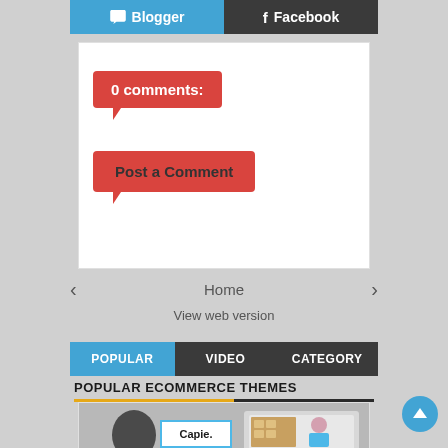Blogger | Facebook
0 comments:
Post a Comment
Home
View web version
POPULAR | VIDEO | CATEGORY
POPULAR ECOMMERCE THEMES
[Figure (screenshot): Capie Shopify theme promotional banner with logo and laptop mockup]